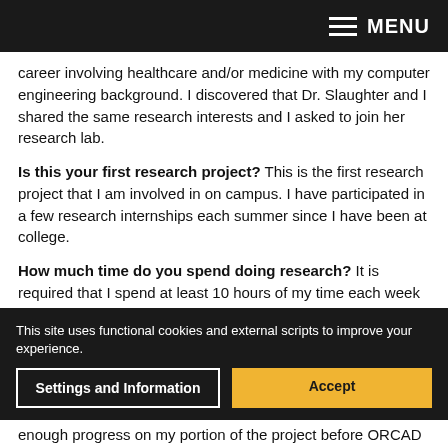MENU
career involving healthcare and/or medicine with my computer engineering background. I discovered that Dr. Slaughter and I shared the same research interests and I asked to join her research lab.
Is this your first research project? This is the first research project that I am involved in on campus. I have participated in a few research internships each summer since I have been at college.
How much time do you spend doing research? It is required that I spend at least 10 hours of my time each week focusing on research.
Are you collaborating with any other students or faculty members? Yes, three other undergraduate students are currently involved in this project, including a chemical
This site uses functional cookies and external scripts to improve your experience.
enough progress on my portion of the project before ORCAD